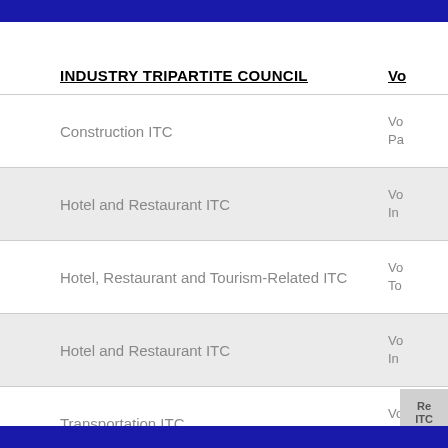| INDUSTRY TRIPARTITE COUNCIL | VO |
| --- | --- |
| Construction ITC | Vo
Pa |
| Hotel and Restaurant ITC | Vo
In |
| Hotel, Restaurant and Tourism-Related ITC | Vo
To |
| Hotel and Restaurant ITC | Vo
In |
| Transportation ITC | Vo
Re |